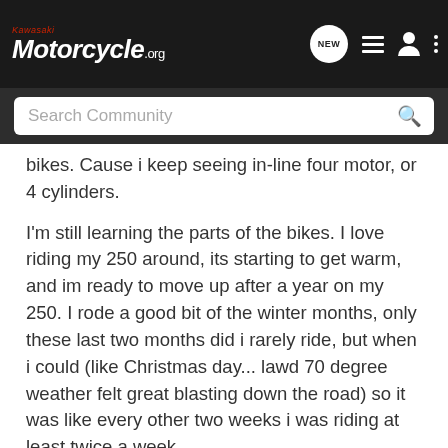Kawasaki Motorcycle.org — NEW
bikes. Cause i keep seeing in-line four motor, or 4 cylinders.
I'm still learning the parts of the bikes. I love riding my 250 around, its starting to get warm, and im ready to move up after a year on my 250. I rode a good bit of the winter months, only these last two months did i rarely ride, but when i could (like Christmas day... lawd 70 degree weather felt great blasting down the road) so it was like every other two weeks i was riding at least twice a week.
So help me out fellow bikers... cause i need the key words that i should be looking for.
Challe, but call me "Truth"